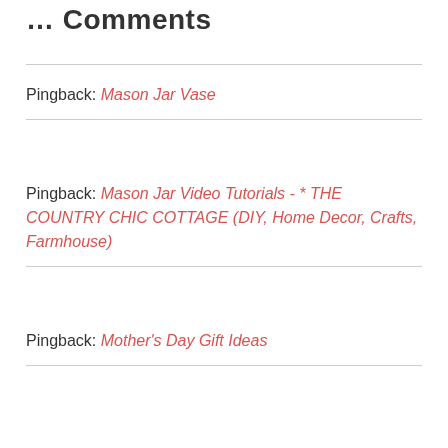… Comments
Pingback: Mason Jar Vase
Pingback: Mason Jar Video Tutorials - * THE COUNTRY CHIC COTTAGE (DIY, Home Decor, Crafts, Farmhouse)
Pingback: Mother's Day Gift Ideas